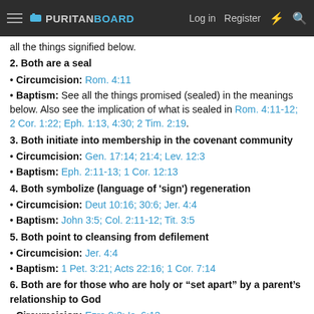PURITANBOARD — Log in  Register
all the things signified below.
2. Both are a seal
• Circumcision: Rom. 4:11
• Baptism: See all the things promised (sealed) in the meanings below. Also see the implication of what is sealed in Rom. 4:11-12; 2 Cor. 1:22; Eph. 1:13, 4:30; 2 Tim. 2:19.
3. Both initiate into membership in the covenant community
• Circumcision: Gen. 17:14; 21:4; Lev. 12:3
• Baptism: Eph. 2:11-13; 1 Cor. 12:13
4. Both symbolize (language of 'sign') regeneration
• Circumcision: Deut 10:16; 30:6; Jer. 4:4
• Baptism: John 3:5; Col. 2:11-12; Tit. 3:5
5. Both point to cleansing from defilement
• Circumcision: Jer. 4:4
• Baptism: 1 Pet. 3:21; Acts 22:16; 1 Cor. 7:14
6. Both are for those who are holy or “set apart” by a parent’s relationship to God
• Circumcision: Ezra 9:2; Is. 6:13
• Baptism: 1 Cor. 7:14